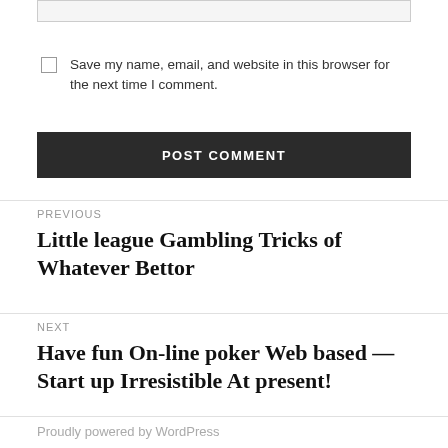[input box]
Save my name, email, and website in this browser for the next time I comment.
POST COMMENT
PREVIOUS
Little league Gambling Tricks of Whatever Bettor
NEXT
Have fun On-line poker Web based — Start up Irresistible At present!
Proudly powered by WordPress